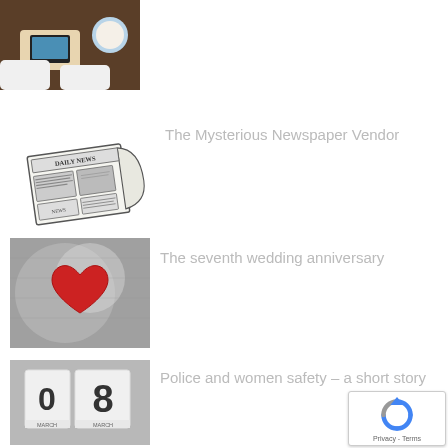[Figure (photo): Cropped top image showing hands holding a phone over a desk with coffee cup]
[Figure (illustration): Hand-drawn illustration of a newspaper labeled DAILY NEWS]
The Mysterious Newspaper Vendor
[Figure (photo): Black and white photo of hands holding a red heart shape]
The seventh wedding anniversary
[Figure (photo): Photo of calendar blocks showing 08 MARCH]
Police and women safety – a short story